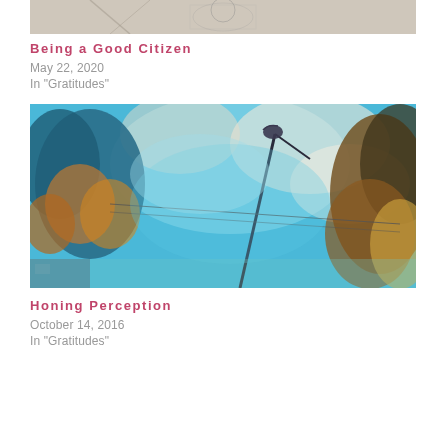[Figure (photo): Partial view of a pencil/ink drawing at the top of the page, cropped]
Being a Good Citizen
May 22, 2020
In "Gratitudes"
[Figure (photo): Colorful artistic photo or painting showing blue sky, trees with autumn leaves, and a street lamp, with abstract painterly treatment]
Honing Perception
October 14, 2016
In "Gratitudes"